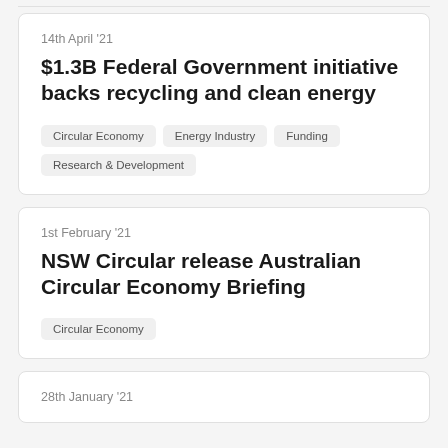14th April '21
$1.3B Federal Government initiative backs recycling and clean energy
Circular Economy
Energy Industry
Funding
Research & Development
1st February '21
NSW Circular release Australian Circular Economy Briefing
Circular Economy
28th January '21